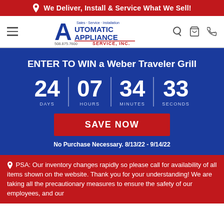We Deliver, Install & Service What We Sell!
[Figure (logo): Automatic Appliance Service Inc. logo with tagline Sales · Service · Installation and phone number 508.875.7600]
ENTER TO WIN a Weber Traveler Grill
24 DAYS | 07 HOURS | 34 MINUTES | 33 SECONDS
SAVE NOW
No Purchase Necessary. 8/13/22 - 9/14/22
PSA: Our inventory changes rapidly so please call for availability of all items shown on the website. Thank you for your understanding! We are taking all the precautionary measures to ensure the safety of our employees, and our